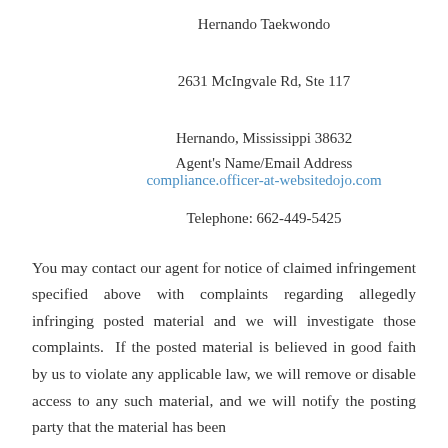Hernando Taekwondo
2631 McIngvale Rd, Ste 117
Hernando, Mississippi 38632
Agent's Name/Email Address compliance.officer-at-websitedojo.com
Telephone: 662-449-5425
You may contact our agent for notice of claimed infringement specified above with complaints regarding allegedly infringing posted material and we will investigate those complaints.  If the posted material is believed in good faith by us to violate any applicable law, we will remove or disable access to any such material, and we will notify the posting party that the material has been